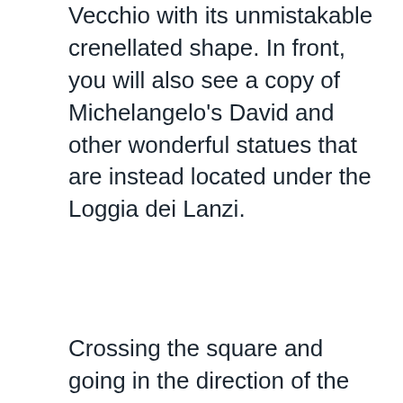Vecchio with its unmistakable crenellated shape. In front, you will also see a copy of Michelangelo's David and other wonderful statues that are instead located under the Loggia dei Lanzi.
Crossing the square and going in the direction of the river Arno you will find the famous Ponte Vecchio, one of the symbols of the city, built in the XIV century. To enjoy one of the most incredible panoramic views of the city, you can finally climb up to Piazzale Michelangelo, at the top of the hill.
Florence also houses very famous museums. If you love art and want to see some of the most